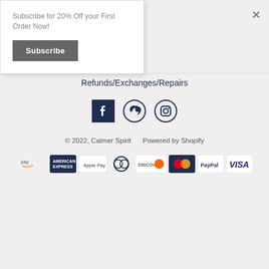Subscribe for 20% Off your First Order Now!
Subscribe
Refunds/Exchanges/Repairs
[Figure (illustration): Social media icons: Facebook, Pinterest, Instagram]
© 2022, Calmer Spirit    Powered by Shopify
[Figure (illustration): Payment method icons: Amazon Pay, American Express, Apple Pay, Diners Club, Discover, Mastercard, PayPal, Visa]